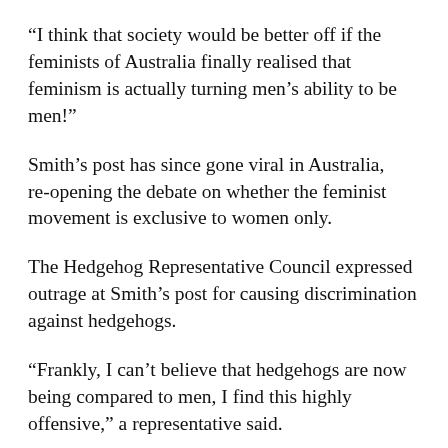“I think that society would be better off if the feminists of Australia finally realised that feminism is actually turning men’s ability to be men!”
Smith’s post has since gone viral in Australia, re-opening the debate on whether the feminist movement is exclusive to women only.
The Hedgehog Representative Council expressed outrage at Smith’s post for causing discrimination against hedgehogs.
“Frankly, I can’t believe that hedgehogs are now being compared to men, I find this highly offensive,” a representative said.